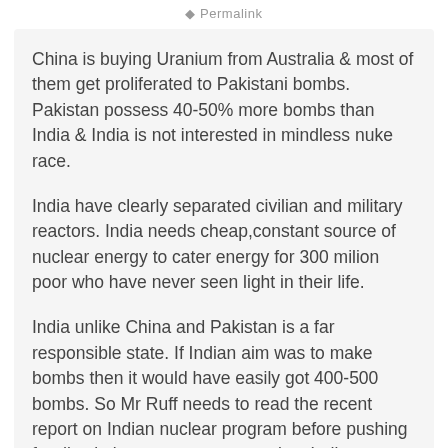Permalink
China is buying Uranium from Australia & most of them get proliferated to Pakistani bombs. Pakistan possess 40-50% more bombs than India & India is not interested in mindless nuke race.
India have clearly separated civilian and military reactors. India needs cheap,constant source of nuclear energy to cater energy for 300 milion poor who have never seen light in their life.
India unlike China and Pakistan is a far responsible state. If Indian aim was to make bombs then it would have easily got 400-500 bombs. So Mr Ruff needs to read the recent report on Indian nuclear program before pushing for discriminatory argument against India